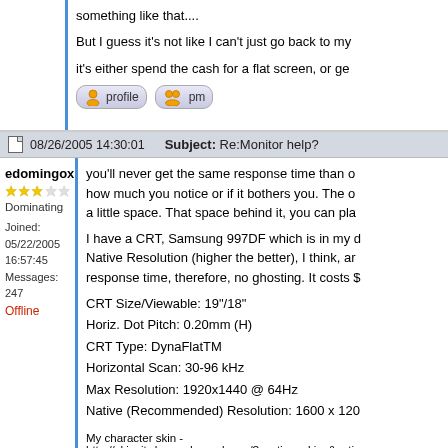something like that.... But I guess it's not like I can't just go back to my it's either spend the cash for a flat screen, or ge
[Figure (infographic): Profile and PM buttons (icon buttons for user profile and private message)]
08/26/2005 14:30:01   Subject: Re:Monitor help?
edomingox
Dominating
Joined: 05/22/2005 16:57:45
Messages: 247
Offline
you'll never get the same response time than o... how much you notice or if it bothers you. The o... a little space. That space behind it, you can pla...
I have a CRT, Samsung 997DF which is in my d... Native Resolution (higher the better), I think, ar... response time, therefore, no ghosting. It costs $...
CRT Size/Viewable: 19"/18"
Horiz. Dot Pitch: 0.20mm (H)
CRT Type: DynaFlatTM
Horizontal Scan: 30-96 kHz
Max Resolution: 1920x1440 @ 64Hz
Native (Recommended) Resolution: 1600 x 120
My character skin -
http://skincity.beyondunreal.com/?section=skins&action=8r...